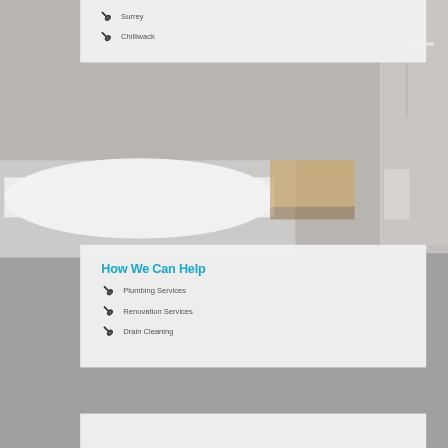Surrey
Chilliwack
[Figure (photo): Modern bathroom with freestanding white bathtub, grey tiled walls, and wooden bench]
How We Can Help
Plumbing Services
Renovation Services
Drain Cleaning